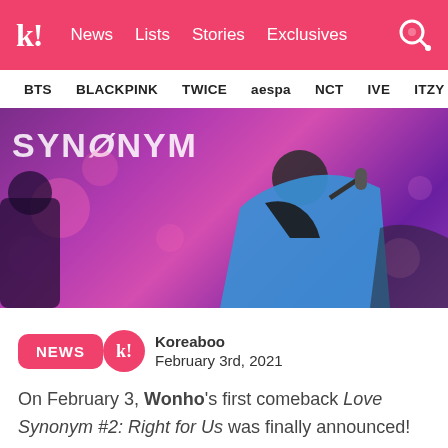k! News Lists Stories Exclusives
BTS BLACKPINK TWICE aespa NCT IVE ITZY
[Figure (photo): Concert photo of a male performer (Wonho) in a blue jacket with black vest, holding a microphone and performing on stage with purple bokeh lights in the background. Text 'SYNONYM' visible on background banner.]
NEWS
Koreaboo
February 3rd, 2021
On February 3, Wonho's first comeback Love Synonym #2: Right for Us was finally announced! This announcement comes five